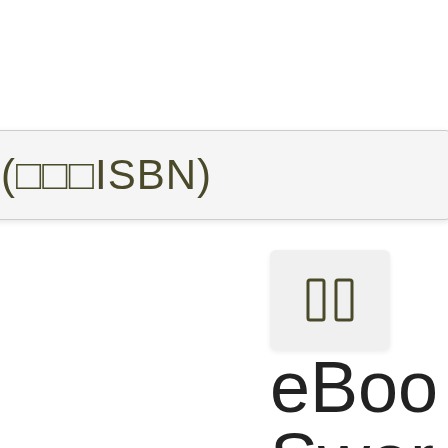[Figure (screenshot): A UI element showing a search or input box with text '(□□□ISBN)' partially visible, and below it a small button with two vertical rectangles (pause icon), and large text partially visible reading 'eBoo', 'Swor', 'Quee']